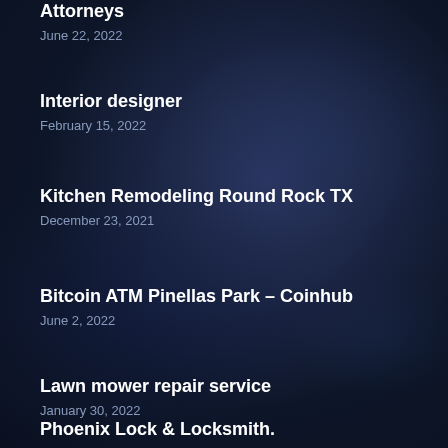Attorneys
June 22, 2022
Interior designer
February 15, 2022
Kitchen Remodeling Round Rock TX
December 23, 2021
Bitcoin ATM Pinellas Park – Coinhub
June 2, 2022
Lawn mower repair service
January 30, 2022
Phoenix Lock & Locksmith.